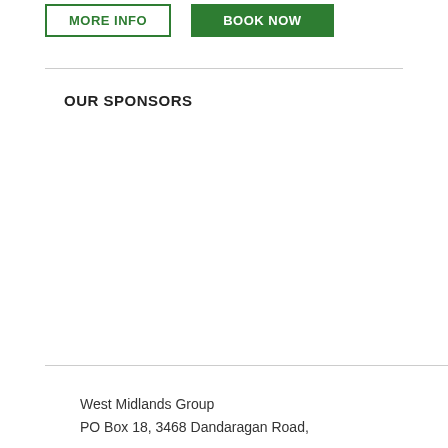[Figure (other): Two buttons: 'MORE INFO' (outlined green) and 'BOOK NOW' (solid green)]
OUR SPONSORS
West Midlands Group
PO Box 18, 3468 Dandaragan Road,